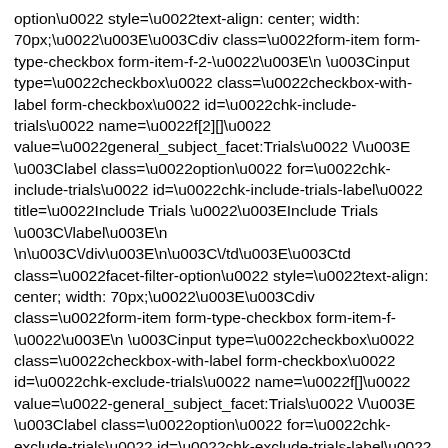option\u0022 style=\u0022text-align: center; width: 70px;\u0022\u003E\u003Cdiv class=\u0022form-item form-type-checkbox form-item-f-2-\u0022\u003E\n \u003Cinput type=\u0022checkbox\u0022 class=\u0022checkbox-with-label form-checkbox\u0022 id=\u0022chk-include-trials\u0022 name=\u0022f[2][]\u0022 value=\u0022general_subject_facet:Trials\u0022 \/\u003E \u003Clabel class=\u0022option\u0022 for=\u0022chk-include-trials\u0022 id=\u0022chk-include-trials-label\u0022 title=\u0022Include Trials \u0022\u003EInclude Trials \u003C\/label\u003E\n \n\u003C\/div\u003E\n\u003C\/td\u003E\u003Ctd class=\u0022facet-filter-option\u0022 style=\u0022text-align: center; width: 70px;\u0022\u003E\u003Cdiv class=\u0022form-item form-type-checkbox form-item-f-\u0022\u003E\n \u003Cinput type=\u0022checkbox\u0022 class=\u0022checkbox-with-label form-checkbox\u0022 id=\u0022chk-exclude-trials\u0022 name=\u0022f[]\u0022 value=\u0022-general_subject_facet:Trials\u0022 \/\u003E \u003Clabel class=\u0022option\u0022 for=\u0022chk-exclude-trials\u0022 id=\u0022chk-exclude-trials-label\u0022 title=\u0022Exclude Trials \u0022\u003EExclude Trials \u003C\/label\u003E\n \n\u003C\/div\u003E\n\u003C\/td\u003E\u003Ctd\u003ETrials (1)\u003C\/td\u003E \n\u003C\/tr\u003E\n\u003C\/tbody\u003E\n\u003C\/table\u003E\n\u00